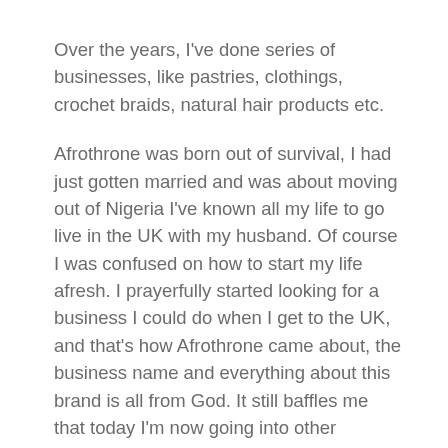Over the years, I've done series of businesses, like pastries, clothings, crochet braids, natural hair products etc.
Afrothrone was born out of survival, I had just gotten married and was about moving out of Nigeria I've known all my life to go live in the UK with my husband. Of course I was confused on how to start my life afresh. I prayerfully started looking for a business I could do when I get to the UK, and that's how Afrothrone came about, the business name and everything about this brand is all from God. It still baffles me that today I'm now going into other channels of businesses I had the conviction to include in my business registration that I did in Nigeria before moving. I didn't think I would do them, I just felt an inclination to include them. All I thought I would do with Afrothrone is clothing, but today we have gone into Sheabutter, Skincare, Haircare, Braided wigs and lace all from Africa, we also have Jewelries, journals